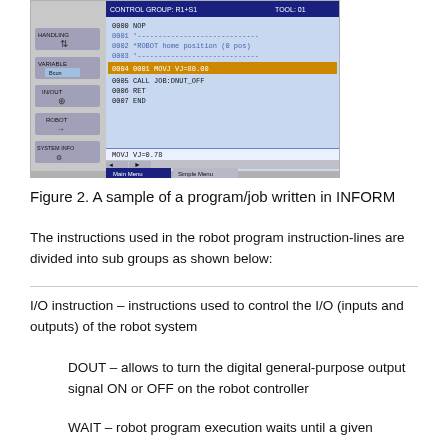[Figure (screenshot): Screenshot of a robot teach pendant display showing an INFORM program/job. The screen shows a blue interface with program lines: 0000 NOP, 0001 comment line, 0002 *ROBOT home position (0 pos), 0003 comment line, 0004 0001 MOVJ VJ=80.00 (highlighted), 0005 CALL JOB:DNUT_OFF, 0006 RET, 0007 END. Left sidebar shows menu buttons: HANDLING, VARIABLE (Bcon), IN/OUT, ROBOT, SYSTEM INFO. Bottom shows MOVJ VJ=0.78 status bar and Main Menu / Simple Menu buttons.]
Figure 2. A sample of a program/job written in INFORM
The instructions used in the robot program instruction-lines are divided into sub groups as shown below:
I/O instruction – instructions used to control the I/O (inputs and outputs) of the robot system
DOUT – allows to turn the digital general-purpose output signal ON or OFF on the robot controller
WAIT – robot program execution waits until a given